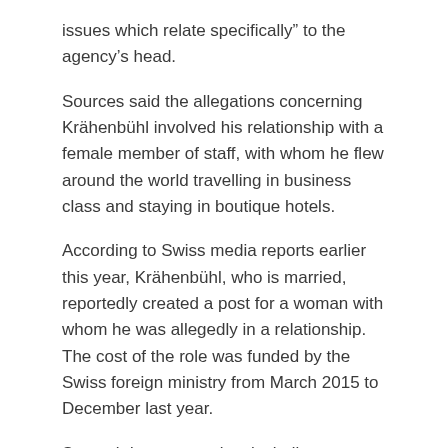issues which relate specifically” to the agency’s head.
Sources said the allegations concerning Krähenbühl involved his relationship with a female member of staff, with whom he flew around the world travelling in business class and staying in boutique hotels.
According to Swiss media reports earlier this year, Krähenbühl, who is married, reportedly created a post for a woman with whom he was allegedly in a relationship. The cost of the role was funded by the Swiss foreign ministry from March 2015 to December last year.
Several donor countries, including Switzerland and Belgium, suspended funding to UNRWA, which provides support to 5.5 million Palestinian refugees, over the allegations.
The alleged misbehaviour at the top of the agency also reportedly involved other senior staff, with some of the complaints allegedly involving attempts to cover up other wrongdoing.